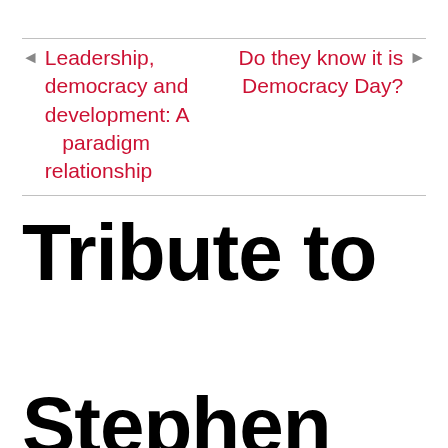◄ Leadership, democracy and development: A paradigm relationship
Do they know it is Democracy Day? ►
Tribute to Stephen Lawrence